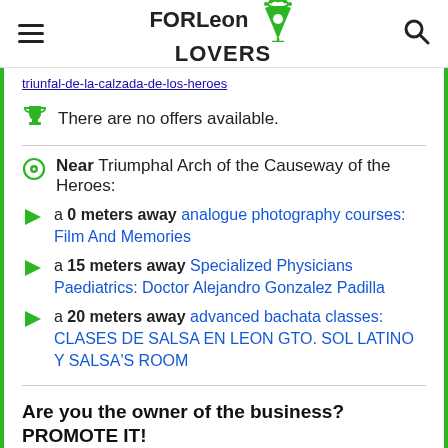FORLeon LOVERS
triunfal-de-la-calzada-de-los-heroes
There are no offers available.
Near Triumphal Arch of the Causeway of the Heroes:
a 0 meters away analogue photography courses: Film And Memories
a 15 meters away Specialized Physicians Paediatrics: Doctor Alejandro Gonzalez Padilla
a 20 meters away advanced bachata classes: CLASES DE SALSA EN LEON GTO. SOL LATINO Y SALSA'S ROOM
Are you the owner of the business? PROMOTE IT!